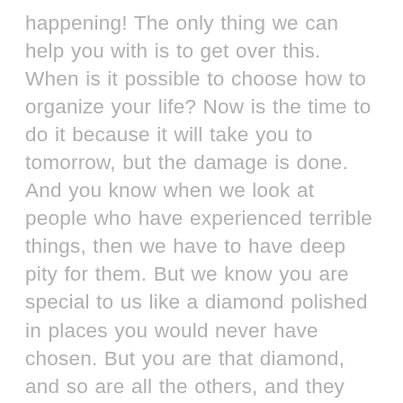happening!  The only thing we can help you with is to get over this.  When is it possible to choose how to organize your life?  Now is the time to do it because it will take you to tomorrow, but the damage is done.  And you know when we look at people who have experienced terrible things, then we have to have deep pity for them.  But we know you are special to us like a diamond polished in places you would never have chosen.  But you are that diamond, and so are all the others, and they can all use it for the better.  When they are over it in the now, they have decided not to be victims anymore.  Unfortunately, there is no time for that now because I cannot say that it should happen now.  But healing has begun, if I may put it that way, for all of us.  Not everyone has the same pain.  You are all in contact with us, and we talk to you and help you.  Nothing is